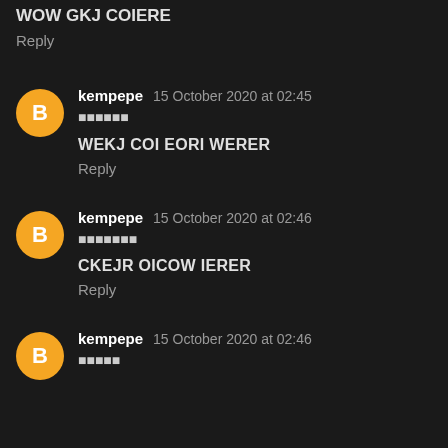WOW GKJ COIERE
Reply
kempepe  15 October 2020 at 02:45
🔲🔲🔲🔲🔲🔲
WEKJ COI EORI WERER
Reply
kempepe  15 October 2020 at 02:46
🔲🔲🔲🔲🔲🔲🔲
CKEJR OICOW IERER
Reply
kempepe  15 October 2020 at 02:46
🔲🔲🔲🔲🔲